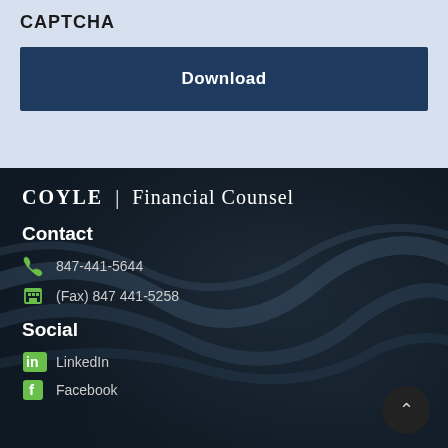CAPTCHA
Download
[Figure (logo): COYLE | Financial Counsel logo in white serif text on dark background]
Contact
847-441-5644
(Fax) 847 441-5258
Social
LinkedIn
Facebook